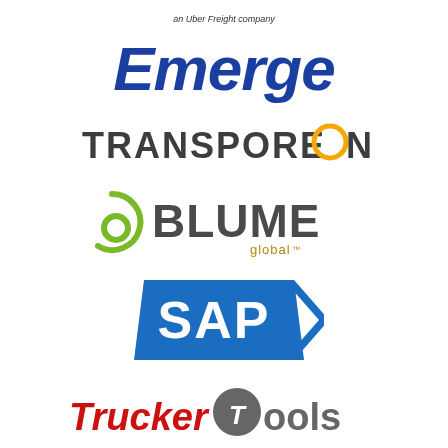[Figure (logo): Emerge logo - an Uber Freight company tagline above, blue italic Emerge wordmark below]
[Figure (logo): Transporeon logo - dark gray uppercase letters with orange circular O]
[Figure (logo): Blume Global logo - green spiral b icon followed by BLUME in dark gray bold and global in smaller text]
[Figure (logo): SAP logo - white SAP text on blue parallelogram/arrow shape]
[Figure (logo): Trucker Tools logo - red italic Trucker followed by a gray T icon and gray Tools text]